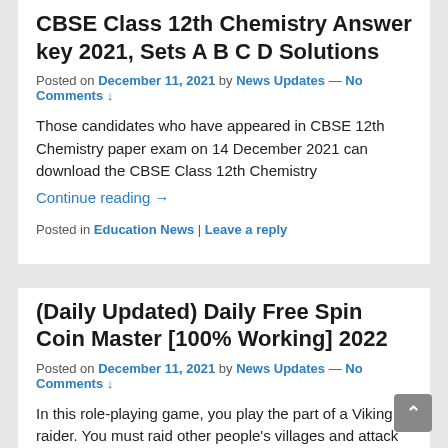CBSE Class 12th Chemistry Answer key 2021, Sets A B C D Solutions
Posted on December 11, 2021 by News Updates — No Comments ↓
Those candidates who have appeared in CBSE 12th Chemistry paper exam on 14 December 2021 can download the CBSE Class 12th Chemistry
Continue reading →
Posted in Education News | Leave a reply
(Daily Updated) Daily Free Spin Coin Master [100% Working] 2022
Posted on December 11, 2021 by News Updates — No Comments ↓
In this role-playing game, you play the part of a Viking raider. You must raid other people's villages and attack them
Continue reading →